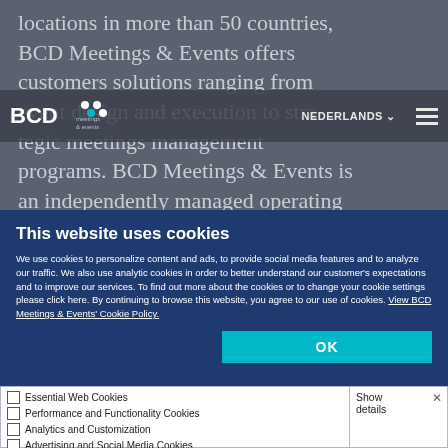locations in more than 50 countries, BCD Meetings & Events offers customers solutions ranging from event design and execution to strategic meetings management programs. BCD Meetings & Events is an independently managed operating company of BCD Group and a sister organization of BCD Travel. For more information, visit www.bcdme.com
[Figure (logo): BCD Meetings & Events logo — white circles and BCD text with 'meetings & events' subtitle]
This website uses cookies
We use cookies to personalize content and ads, to provide social media features and to analyze our traffic. We also use analytic cookies in order to better understand our customer's expectations and to improve our services. To find out more about the cookies or to change your cookie settings please click here. By continuing to browse this website, you agree to our use of cookies. View BCD Meetings & Events' Cookie Policy.
OK
| Cookie Type | Show details |
| --- | --- |
| Essential Web Cookies |  |
| Performance and Functionality Cookies |  |
| Analytics and Customization |  |
| Advertising and Social Media Cookies | Show details |